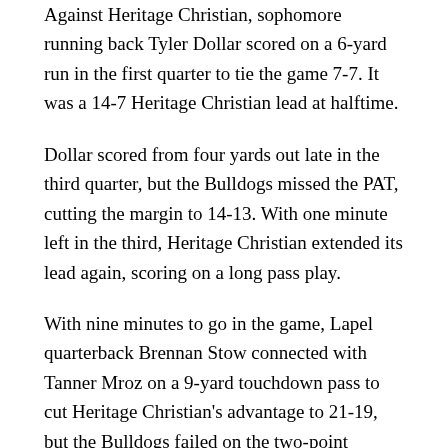Against Heritage Christian, sophomore running back Tyler Dollar scored on a 6-yard run in the first quarter to tie the game 7-7. It was a 14-7 Heritage Christian lead at halftime.
Dollar scored from four yards out late in the third quarter, but the Bulldogs missed the PAT, cutting the margin to 14-13. With one minute left in the third, Heritage Christian extended its lead again, scoring on a long pass play.
With nine minutes to go in the game, Lapel quarterback Brennan Stow connected with Tanner Mroz on a 9-yard touchdown pass to cut Heritage Christian's advantage to 21-19, but the Bulldogs failed on the two-point conversion.
Heritage Christian followed with touchdowns on two long pass plays and ran an interception back for another score.
The Bulldogs fell to 5-2 overall with the loss, while the Eagles